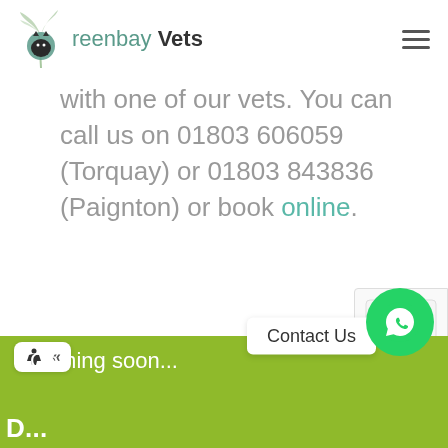Greenbay Vets
with one of our vets. You can call us on 01803 606059 (Torquay) or 01803 843836 (Paignton) or book online.
Coming soon...
Contact Us